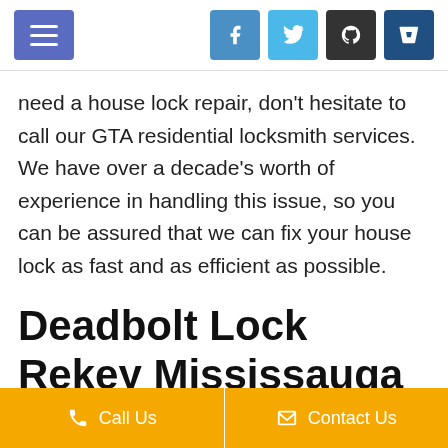[Navigation bar with menu button and social icons: Facebook, Twitter, GitHub, Bitbucket]
need a house lock repair, don't hesitate to call our GTA residential locksmith services. We have over a decade's worth of experience in handling this issue, so you can be assured that we can fix your house lock as fast and as efficient as possible.
Deadbolt Lock Rekey Mississauga
Call Us   Contact Us